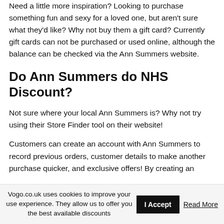Need a little more inspiration? Looking to purchase something fun and sexy for a loved one, but aren't sure what they'd like? Why not buy them a gift card? Currently gift cards can not be purchased or used online, although the balance can be checked via the Ann Summers website.
Do Ann Summers do NHS Discount?
Not sure where your local Ann Summers is? Why not try using their Store Finder tool on their website!
Customers can create an account with Ann Summers to record previous orders, customer details to make another purchase quicker, and exclusive offers! By creating an
Vogo.co.uk uses cookies to improve your use experience. They allow us to offer you the best available discounts